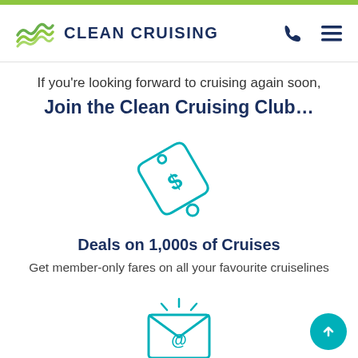[Figure (logo): Clean Cruising logo with green wave icon and dark blue CLEAN CRUISING text, plus phone and hamburger menu icons]
If you’re looking forward to cruising again soon,
Join the Clean Cruising Club…
[Figure (illustration): Teal price tag icon with dollar sign]
Deals on 1,000s of Cruises
Get member-only fares on all your favourite cruiselines
[Figure (illustration): Teal envelope with @ symbol and sparkle lines, partially visible at bottom]